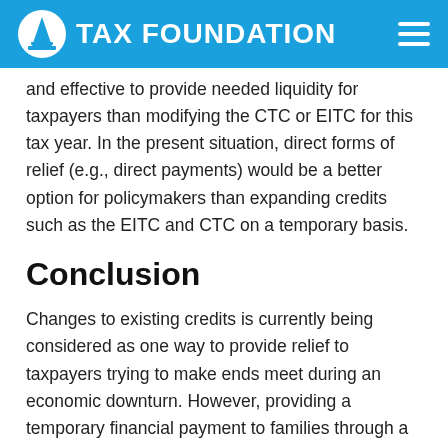TAX FOUNDATION
and effective to provide needed liquidity for taxpayers than modifying the CTC or EITC for this tax year. In the present situation, direct forms of relief (e.g., direct payments) would be a better option for policymakers than expanding credits such as the EITC and CTC on a temporary basis.
Conclusion
Changes to existing credits is currently being considered as one way to provide relief to taxpayers trying to make ends meet during an economic downturn. However, providing a temporary financial payment to families through a rebate or direct payment would be more effective and efficient than tinkering with eligibility and refundability within the current credit structures of the EITC and CTC. Consumers need flexibility and liquidity now more than ever. By providing direct payments in